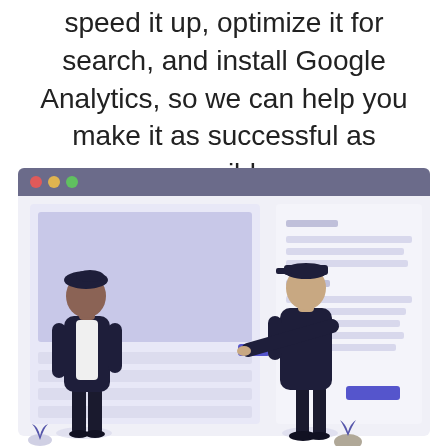speed it up, optimize it for search, and install Google Analytics, so we can help you make it as successful as possible.
[Figure (illustration): Two illustrated figures standing in front of a browser window mockup. One person wears casual street clothes and stands with hands in pockets. The other wears a dark hoodie and cap, pointing at a purple/blue button on the browser interface. The browser window shows a large light purple content area on the left and a panel with text lines and a purple button on the right. Small decorative plant illustrations appear at the bottom corners.]